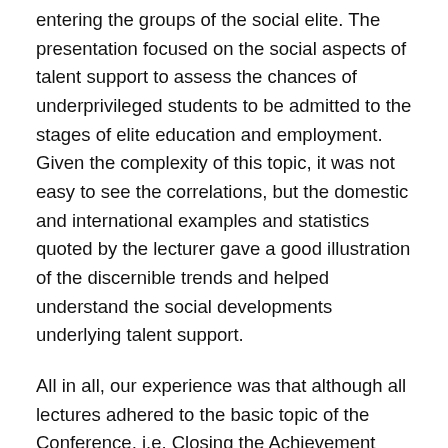entering the groups of the social elite. The presentation focused on the social aspects of talent support to assess the chances of underprivileged students to be admitted to the stages of elite education and employment. Given the complexity of this topic, it was not easy to see the correlations, but the domestic and international examples and statistics quoted by the lecturer gave a good illustration of the discernible trends and helped understand the social developments underlying talent support.
All in all, our experience was that although all lectures adhered to the basic topic of the Conference, i.e. Closing the Achievement Gap in Gifted Education, each presented a special perspective enriching relevant knowledge and, consequently, by the end of the Conference, the audience obtained a comprehensive picture of the psychological, pedagogical and